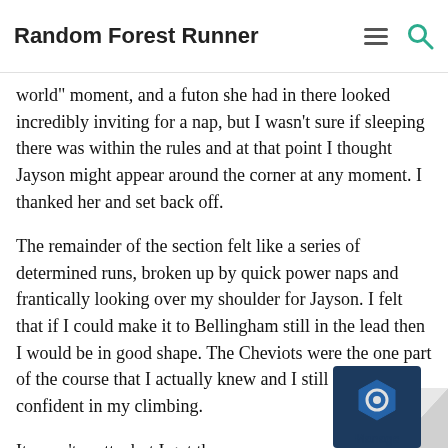Random Forest Runner
world" moment, and a futon she had in there looked incredibly inviting for a nap, but I wasn't sure if sleeping there was within the rules and at that point I thought Jayson might appear around the corner at any moment. I thanked her and set back off.
The remainder of the section felt like a series of determined runs, broken up by quick power naps and frantically looking over my shoulder for Jayson. I felt that if I could make it to Bellingham still in the lead then I would be in good shape. The Cheviots were the one part of the course that I actually knew and I still fe really confident in my climbing.
It wasn't pretty, but I got there.